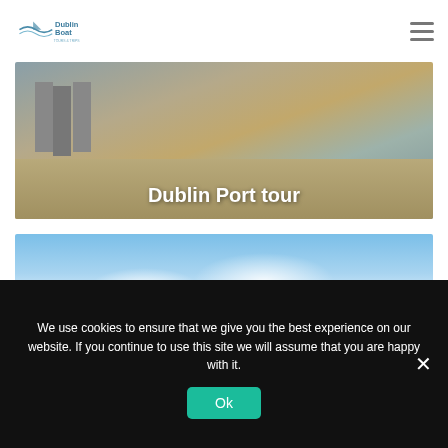Dublin Boat
[Figure (photo): Aerial photograph of Dublin Port with industrial buildings and beach/sandbar, with water in the background]
Dublin Port tour
[Figure (photo): Photograph of Killiney Bay with dramatic cloudy sky, green hills and coastal town in the background]
Killiney Bay Tour
We use cookies to ensure that we give you the best experience on our website. If you continue to use this site we will assume that you are happy with it.